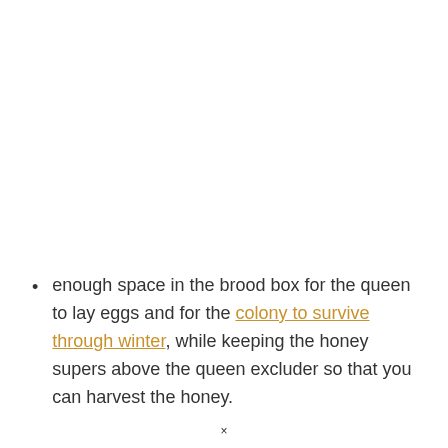enough space in the brood box for the queen to lay eggs and for the colony to survive through winter, while keeping the honey supers above the queen excluder so that you can harvest the honey.
×